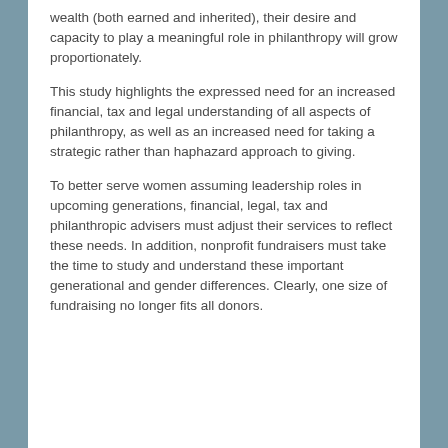wealth (both earned and inherited), their desire and capacity to play a meaningful role in philanthropy will grow proportionately.
This study highlights the expressed need for an increased financial, tax and legal understanding of all aspects of philanthropy, as well as an increased need for taking a strategic rather than haphazard approach to giving.
To better serve women assuming leadership roles in upcoming generations, financial, legal, tax and philanthropic advisers must adjust their services to reflect these needs. In addition, nonprofit fundraisers must take the time to study and understand these important generational and gender differences. Clearly, one size of fundraising no longer fits all donors.